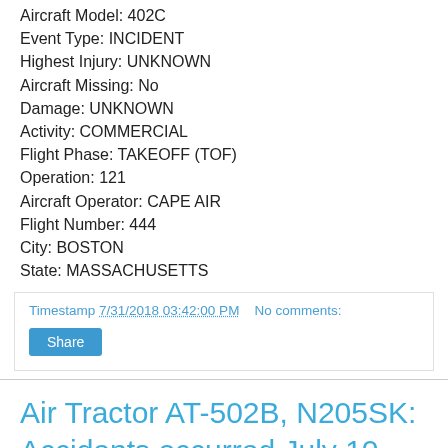Aircraft Model: 402C
Event Type: INCIDENT
Highest Injury: UNKNOWN
Aircraft Missing: No
Damage: UNKNOWN
Activity: COMMERCIAL
Flight Phase: TAKEOFF (TOF)
Operation: 121
Aircraft Operator: CAPE AIR
Flight Number: 444
City: BOSTON
State: MASSACHUSETTS
Timestamp 7/31/2018 03:42:00 PM   No comments:
Air Tractor AT-502B, N205SK: Accidents occurred July 10, 2022, July 30, 2018 and July 18, 2012